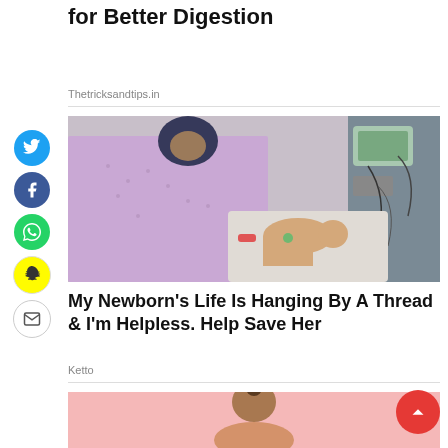for Better Digestion
Thetricksandtips.in
[Figure (photo): A woman in a hospital room tending to a newborn baby in a medical incubator with monitoring equipment and wires around.]
My Newborn's Life Is Hanging By A Thread & I'm Helpless. Help Save Her
Ketto
[Figure (photo): Partial view of a child on a pink background, top portion cut off.]